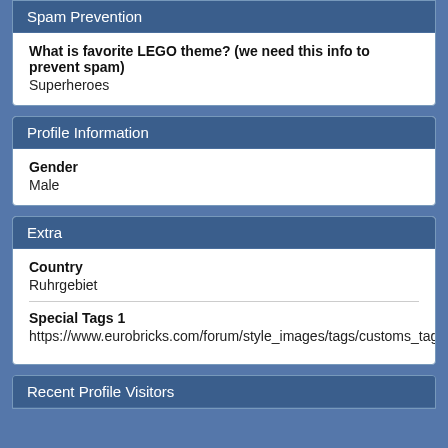Spam Prevention
What is favorite LEGO theme? (we need this info to prevent spam)
Superheroes
Profile Information
Gender
Male
Extra
Country
Ruhrgebiet
Special Tags 1
https://www.eurobricks.com/forum/style_images/tags/customs_tag.gif
Recent Profile Visitors